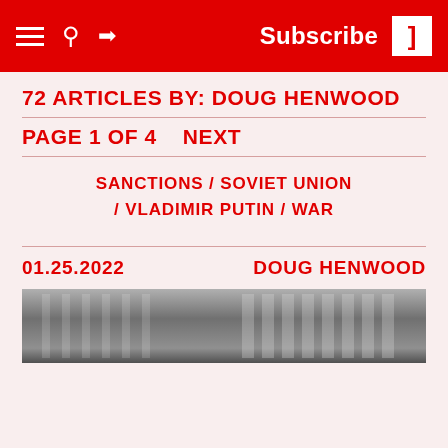Subscribe
72 ARTICLES BY: DOUG HENWOOD
PAGE 1 OF 4    NEXT
SANCTIONS / SOVIET UNION / VLADIMIR PUTIN / WAR
01.25.2022    DOUG HENWOOD
[Figure (photo): Black and white photograph of a building exterior with windows]